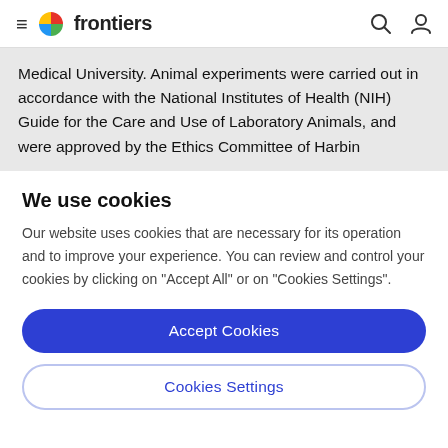frontiers
Medical University. Animal experiments were carried out in accordance with the National Institutes of Health (NIH) Guide for the Care and Use of Laboratory Animals, and were approved by the Ethics Committee of Harbin
We use cookies
Our website uses cookies that are necessary for its operation and to improve your experience. You can review and control your cookies by clicking on "Accept All" or on "Cookies Settings".
Accept Cookies
Cookies Settings